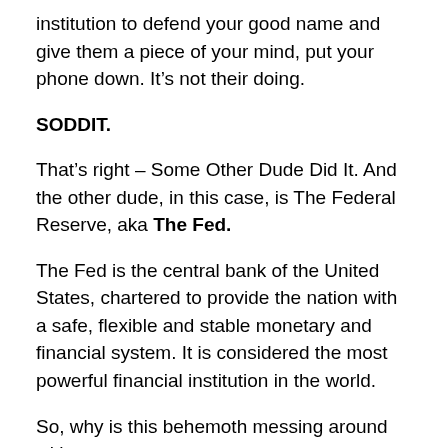institution to defend your good name and give them a piece of your mind, put your phone down. It's not their doing.
SODDIT.
That's right – Some Other Dude Did It. And the other dude, in this case, is The Federal Reserve, aka The Fed.
The Fed is the central bank of the United States, chartered to provide the nation with a safe, flexible and stable monetary and financial system. It is considered the most powerful financial institution in the world.
So, why is this behemoth messing around with